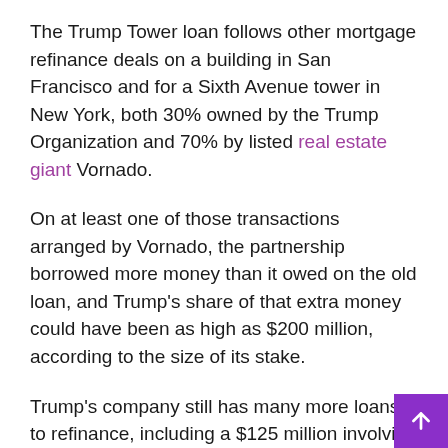The Trump Tower loan follows other mortgage refinance deals on a building in San Francisco and for a Sixth Avenue tower in New York, both 30% owned by the Trump Organization and 70% by listed real estate giant Vornado.
On at least one of those transactions arranged by Vornado, the partnership borrowed more money than it owed on the old loan, and Trump's share of that extra money could have been as high as $200 million, according to the size of its stake.
Trump's company still has many more loans to refinance, including a $125 million involving Doral, due next year.
More than a dozen hotel brokers and pundits who spoke to The Associated Press in recent months had opined that Trump was unlikely to make any money from the sale of his long-term lease of the hotel. former post office building, a federal property that he began to convert into a hotel. almost a decade ago.